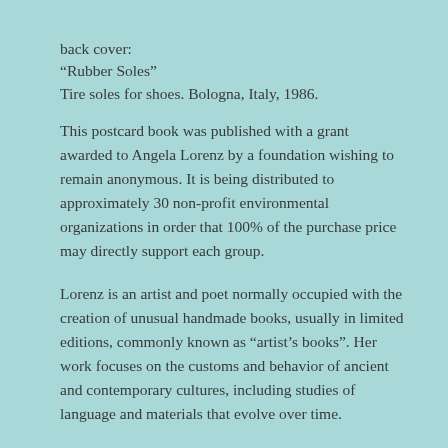back cover:
“Rubber Soles”
Tire soles for shoes. Bologna, Italy, 1986.
This postcard book was published with a grant awarded to Angela Lorenz by a foundation wishing to remain anonymous. It is being distributed to approximately 30 non-profit environmental organizations in order that 100% of the purchase price may directly support each group.
Lorenz is an artist and poet normally occupied with the creation of unusual handmade books, usually in limited editions, commonly known as “artist’s books”. Her work focuses on the customs and behavior of ancient and contemporary cultures, including studies of language and materials that evolve over time.